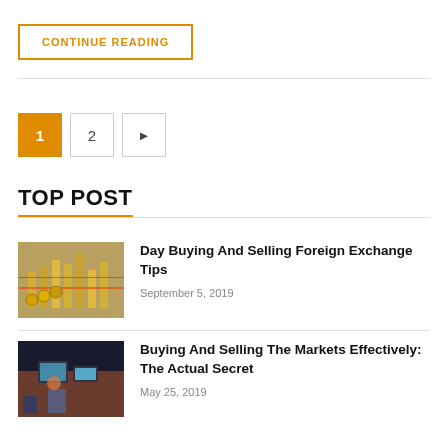CONTINUE READING
1
2
►
TOP POST
Day Buying And Selling Foreign Exchange Tips
September 5, 2019
Buying And Selling The Markets Effectively: The Actual Secret
May 25, 2019